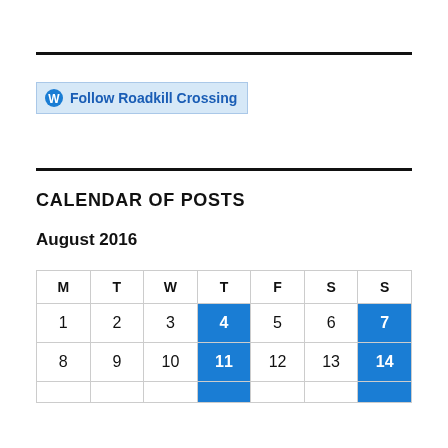[Figure (other): Horizontal black rule divider]
Follow Roadkill Crossing
[Figure (other): Horizontal black rule divider]
CALENDAR OF POSTS
August 2016
| M | T | W | T | F | S | S |
| --- | --- | --- | --- | --- | --- | --- |
| 1 | 2 | 3 | 4 | 5 | 6 | 7 |
| 8 | 9 | 10 | 11 | 12 | 13 | 14 |
|  |  |  |  |  |  |  |